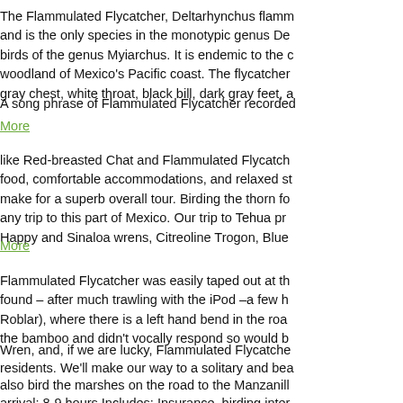The Flammulated Flycatcher, Deltarhynchus flamm... and is the only species in the monotypic genus De... birds of the genus Myiarchus. It is endemic to the c... woodland of Mexico's Pacific coast. The flycatcher... gray chest, white throat, black bill, dark gray feet, a...
A song phrase of Flammulated Flycatcher recorded...
More
like Red-breasted Chat and Flammulated Flycatch... food, comfortable accommodations, and relaxed st... make for a superb overall tour. Birding the thorn fo... any trip to this part of Mexico. Our trip to Tehua pr... Happy and Sinaloa wrens, Citreoline Trogon, Blue...
More
Flammulated Flycatcher was easily taped out at th... found – after much trawling with the iPod –a few h... Roblar), where there is a left hand bend in the roa... the bamboo and didn't vocally respond so would b...
Wren, and, if we are lucky, Flammulated Flycatche... residents. We'll make our way to a solitary and bea... also bird the marshes on the road to the Manzanill... arrival: 8-9 hours Includes: Insurance, birding inter...
© 2019 Th... Picture... Flammulated Flyc...